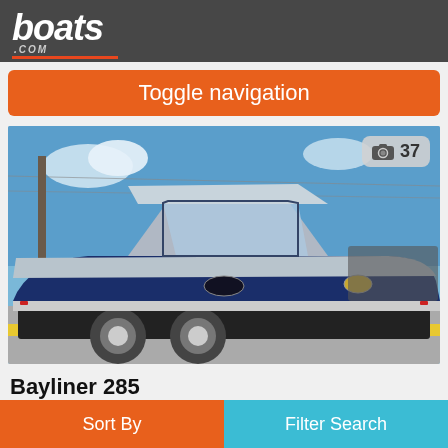boats.com
Toggle navigation
[Figure (photo): A blue and white Bayliner 285 motorboat on a trailer, parked in a lot under blue sky. Photo badge shows camera icon and 37.]
Bayliner 285
Sort By
Filter Search